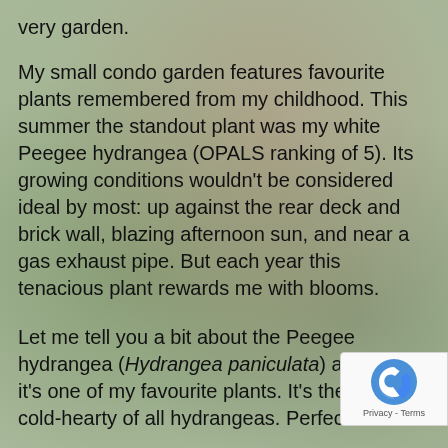very garden.
My small condo garden features favourite plants remembered from my childhood. This summer the standout plant was my white Peegee hydrangea (OPALS ranking of 5). Its growing conditions wouldn't be considered ideal by most: up against the rear deck and brick wall, blazing afternoon sun, and near a gas exhaust pipe. But each year this tenacious plant rewards me with blooms.
Let me tell you a bit about the Peegee hydrangea (Hydrangea paniculata) and why it's one of my favourite plants. It's the most cold-hearty of all hydrangeas. Perfect for our